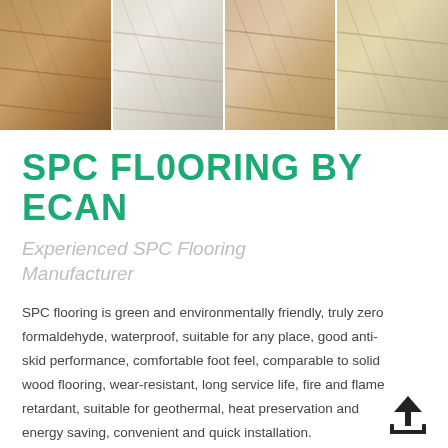[Figure (photo): Four wood-look SPC flooring plank samples shown side by side: medium brown, light gray/white, light tan, and light beige/cream colored planks arranged diagonally from top-left to bottom-right]
SPC FLOORING BY ECAN
Experienced SPC Flooring Manufacturer
SPC flooring is green and environmentally friendly, truly zero formaldehyde, waterproof, suitable for any place, good anti-skid performance, comfortable foot feel, comparable to solid wood flooring, wear-resistant, long service life, fire and flame retardant, suitable for geothermal, heat preservation and energy saving, convenient and quick installation.